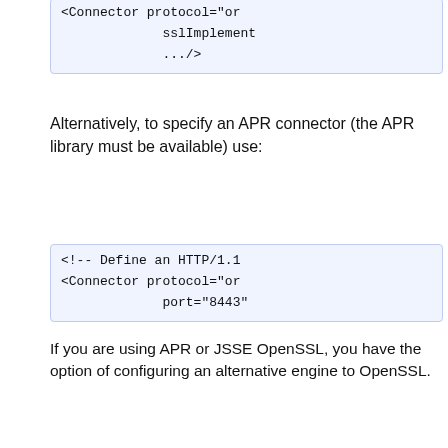[Figure (screenshot): Code box showing partial XML: <Connector protocol="or... sslImplement... .../>]
Alternatively, to specify an APR connector (the APR library must be available) use:
[Figure (screenshot): Code box showing partial XML: <!-- Define an HTTP/1.1 <Connector protocol="or... port="8443"]
If you are using APR or JSSE OpenSSL, you have the option of configuring an alternative engine to OpenSSL.
[Figure (screenshot): Code box showing partial XML: <Listener className="or... SSLEngine="sc...]
The default value is
[Figure (screenshot): Code box showing partial XML: <Listener className="or... SSLEngine="or...]